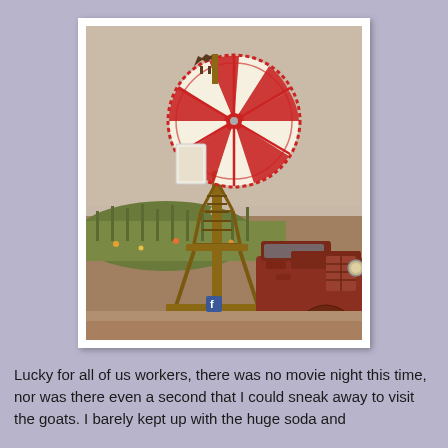[Figure (photo): A decorative farm windmill with red and white fan blades and a horse weathervane on top, mounted on a wooden tower structure. In the foreground is an old rusty vintage truck (circa 1930s-40s). Behind is a field of corn and wildflowers under a hazy, smoky pinkish-grey sky. A small Facebook sign is visible near the base.]
Lucky for all of us workers, there was no movie night this time, nor was there even a second that I could sneak away to visit the goats. I barely kept up with the huge soda and